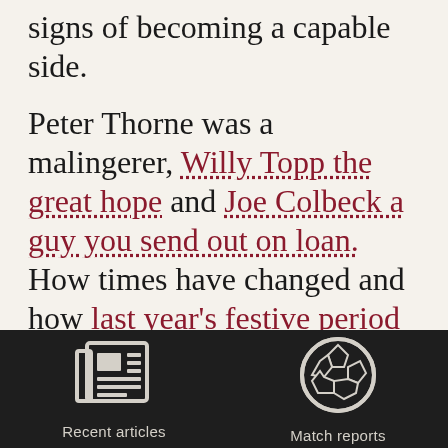signs of becoming a capable side.
Peter Thorne was a malingerer, Willy Topp the great hope and Joe Colbeck a guy you send out on loan. How times have changed and how last year’s festive period changed them.
The Boxing Day 2-1 win over Lincoln City – Barry Conlon scuffing the winner in the last minute – built
[Figure (illustration): Newspaper/article icon in light beige color]
Recent articles
[Figure (illustration): Soccer ball icon in light beige color]
Match reports